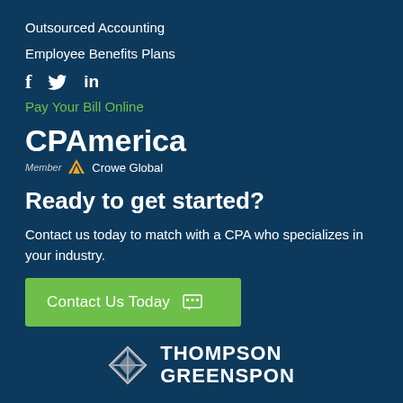Outsourced Accounting
Employee Benefits Plans
[Figure (infographic): Social media icons: Facebook (f), Twitter (bird), LinkedIn (in)]
Pay Your Bill Online
[Figure (logo): CPAmerica logo with Member Crowe Global badge]
Ready to get started?
Contact us today to match with a CPA who specializes in your industry.
[Figure (infographic): Green CTA button: Contact Us Today with chat icon]
[Figure (logo): Thompson Greenspon logo at bottom]